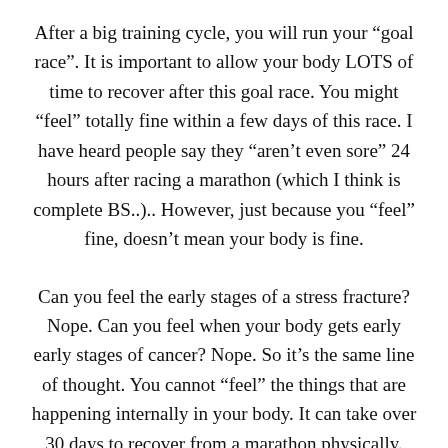After a big training cycle, you will run your “goal race”. It is important to allow your body LOTS of time to recover after this goal race. You might “feel” totally fine within a few days of this race. I have heard people say they “aren’t even sore” 24 hours after racing a marathon (which I think is complete BS..).. However, just because you “feel” fine, doesn’t mean your body is fine.
Can you feel the early stages of a stress fracture? Nope. Can you feel when your body gets early early stages of cancer? Nope. So it’s the same line of thought. You cannot “feel” the things that are happening internally in your body. It can take over 30 days to recover from a marathon physically. Mentally, some runners take even LONGER to recover.